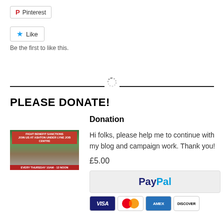[Figure (screenshot): Pinterest share button]
[Figure (screenshot): Like button with blue star icon]
Be the first to like this.
[Figure (illustration): Loading spinner dots in circular arrangement above horizontal divider line]
PLEASE DONATE!
[Figure (photo): Protest photo at Ashton Under Lyne Job Centre with red banners reading: FIGHT BENEFIT SANCTIONS, JOIN US AT ASHTON UNDER LYNE JOB CENTRE, EVERY THURSDAY 10AM - 12 NOON]
Donation
Hi folks, please help me to continue with my blog and campaign work. Thank you!
£5.00
[Figure (screenshot): PayPal donation button (grey background with PayPal logo in dark blue and light blue)]
[Figure (screenshot): Payment card icons: VISA, Mastercard, AMEX, DISCOVER]